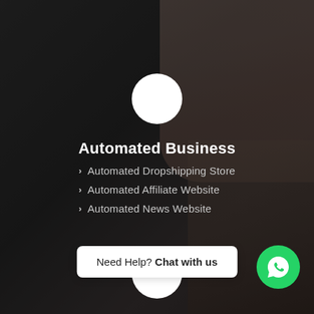[Figure (photo): Background photo of a woman's face and hair with a dark overlay, used as a website background image]
[Figure (illustration): White circle icon representing a service category button]
Automated Business
Automated Dropshipping Store
Automated Affiliate Website
Automated News Website
[Figure (illustration): White circle icon representing a second service category button]
Web 3.0 Development
DeFi
Metaverse Development Services
NFT Development
Need Help? Chat with us